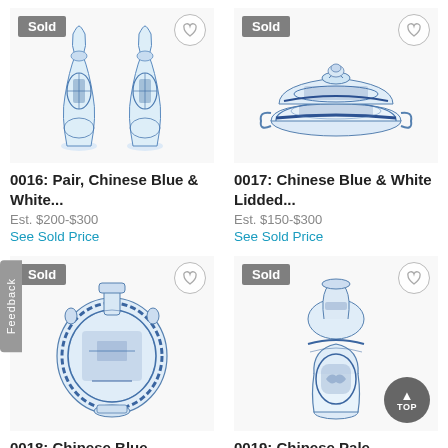[Figure (photo): Pair of Chinese Blue & White porcelain vases with figural decoration, shown side by side. 'Sold' badge in top left corner, heart/favorite icon in top right.]
[Figure (photo): Chinese Blue & White Lidded porcelain tureen/box with decorative lid featuring a lion finial. 'Sold' badge in top left corner, heart/favorite icon in top right.]
0016: Pair, Chinese Blue & White...
Est. $200-$300
See Sold Price
0017: Chinese Blue & White Lidded...
Est. $150-$300
See Sold Price
[Figure (photo): Chinese Blue & White moon flask/pilgrim flask with detailed figural and floral decoration. 'Sold' badge in top left corner, heart/favorite icon in top right.]
[Figure (photo): Chinese Pale Blue & White vase with blue decorative motifs. 'Sold' badge in top left, heart/favorite icon in top right, 'TOP' button in bottom right.]
0018: Chinese Blue
0019: Chinese Pale